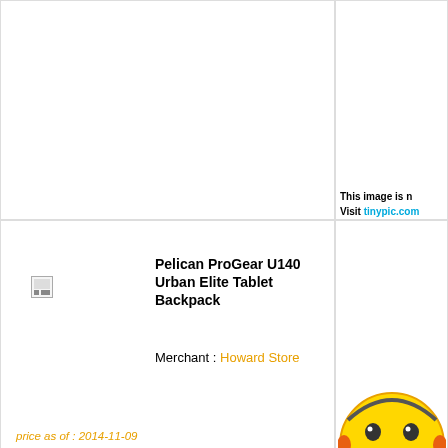[Figure (other): Top-left cell: empty product image placeholder area]
[Figure (other): Top-right cell: Tinypic placeholder - 'This image is no longer available. Visit tinypic.com']
[Figure (other): Bottom-left cell: broken product image thumbnail]
Pelican ProGear U140 Urban Elite Tablet Backpack
$233.96
Merchant : Howard Store
[Figure (other): Bottom-right cell: Tinypic smiley character placeholder - 'This image is no longer available. Visit tinypic.com']
price as of : 2014-11-09